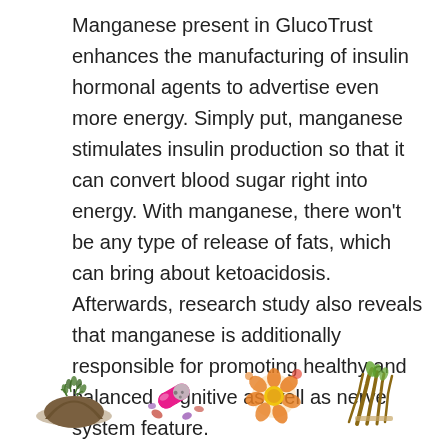Manganese present in GlucoTrust enhances the manufacturing of insulin hormonal agents to advertise even more energy. Simply put, manganese stimulates insulin production so that it can convert blood sugar right into energy. With manganese, there won't be any type of release of fats, which can bring about ketoacidosis. Afterwards, research study also reveals that manganese is additionally responsible for promoting healthy and balanced cognitive as well as nerve system feature.
[Figure (photo): Four images of herbal/supplement ingredients arranged in a row: a mound of green herb powder, a pink capsule with scattered pills, orange/yellow flowers or pills, and dried roots/herbs.]